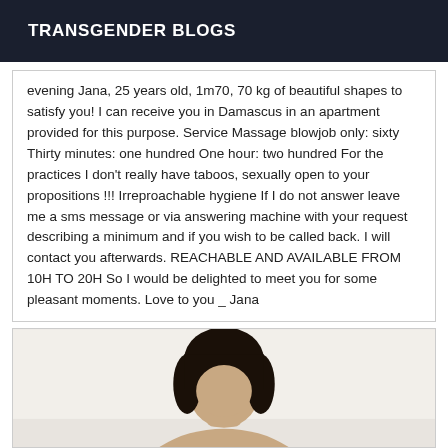TRANSGENDER BLOGS
evening Jana, 25 years old, 1m70, 70 kg of beautiful shapes to satisfy you! I can receive you in Damascus in an apartment provided for this purpose. Service Massage blowjob only: sixty Thirty minutes: one hundred One hour: two hundred For the practices I don't really have taboos, sexually open to your propositions !!! Irreproachable hygiene If I do not answer leave me a sms message or via answering machine with your request describing a minimum and if you wish to be called back. I will contact you afterwards. REACHABLE AND AVAILABLE FROM 10H TO 20H So I would be delighted to meet you for some pleasant moments. Love to you _ Jana
[Figure (photo): Photo of a person with dark hair, cropped at shoulders, light background]